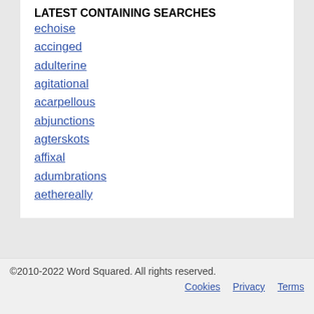LATEST CONTAINING SEARCHES
echoise
accinged
adulterine
agitational
acarpellous
abjunctions
agterskots
affixal
adumbrations
aethereally
©2010-2022 Word Squared. All rights reserved.  Cookies  Privacy  Terms